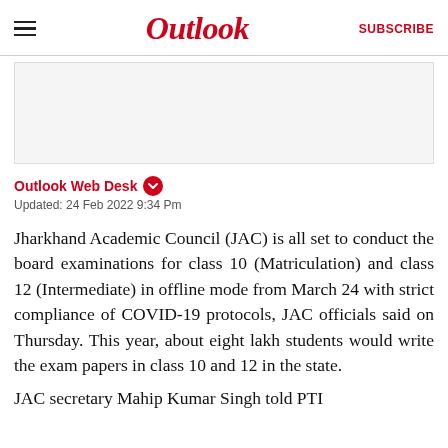Outlook  SUBSCRIBE
[Figure (other): Advertisement placeholder box]
Outlook Web Desk
Updated: 24 Feb 2022 9:34 Pm
Jharkhand Academic Council (JAC) is all set to conduct the board examinations for class 10 (Matriculation) and class 12 (Intermediate) in offline mode from March 24 with strict compliance of COVID-19 protocols, JAC officials said on Thursday. This year, about eight lakh students would write the exam papers in class 10 and 12 in the state.
JAC secretary Mahip Kumar Singh told PTI